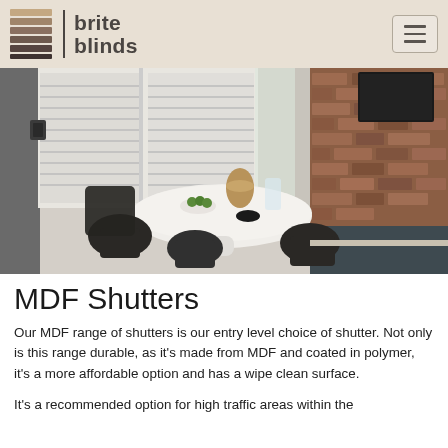brite blinds
[Figure (photo): Interior dining room scene with white plantation shutters on windows, a round white tulip-style table with dark modern chairs, wicker basket, glass pitcher, and exposed brick wall on the right side.]
MDF Shutters
Our MDF range of shutters is our entry level choice of shutter. Not only is this range durable, as it's made from MDF and coated in polymer, it's a more affordable option and has a wipe clean surface.
It's a recommended option for high traffic areas within the